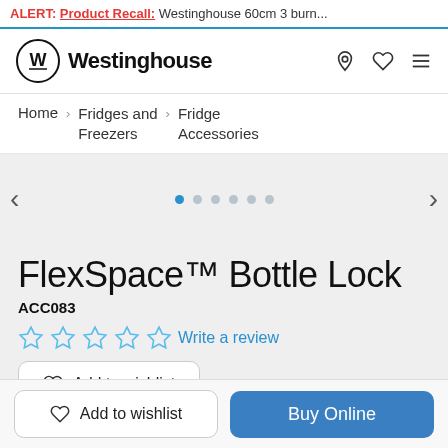ALERT: Product Recall: Westinghouse 60cm 3 burn...
[Figure (logo): Westinghouse logo with W emblem in circle and wordmark]
Home > Fridges and Freezers > Fridge Accessories
[Figure (other): Product image carousel area with left/right arrows and 6 navigation dots, first dot active]
FlexSpace™ Bottle Lock
ACC083
☆☆☆☆☆  Write a review
Add to wishlist
Add to wishlist   Buy Online